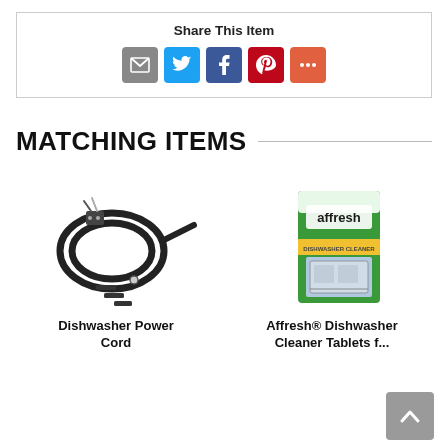Share This Item
[Figure (infographic): Social share icons: email (grey), Twitter (blue), Facebook (blue), Pinterest (red), More (orange-red)]
MATCHING ITEMS
[Figure (photo): Dishwasher power cord component — black coiled cable with connector and small parts]
Dishwasher Power Cord
[Figure (photo): Affresh Dishwasher Cleaner tablets — green box with dishwasher image]
Affresh® Dishwasher Cleaner Tablets f...